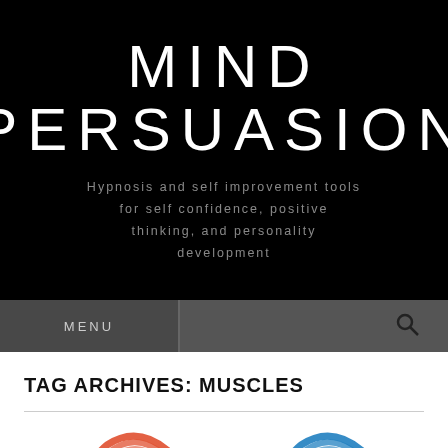MIND PERSUASION
Hypnosis and self improvement tools for self confidence, positive thinking, and personality development
MENU
TAG ARCHIVES: MUSCLES
[Figure (illustration): Two brain icons, one red/orange on the left and one blue on the right, partially visible at the bottom of the page]